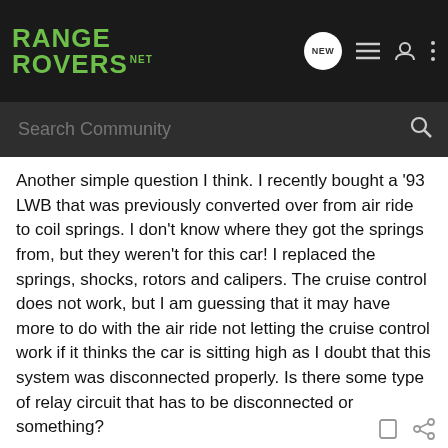RANGE ROVERS.NET
Another simple question I think. I recently bought a '93 LWB that was previously converted over from air ride to coil springs. I don't know where they got the springs from, but they weren't for this car! I replaced the springs, shocks, rotors and calipers. The cruise control does not work, but I am guessing that it may have more to do with the air ride not letting the cruise control work if it thinks the car is sitting high as I doubt that this system was disconnected properly. Is there some type of relay circuit that has to be disconnected or something?
Any advice greatly appreciated.
Brad